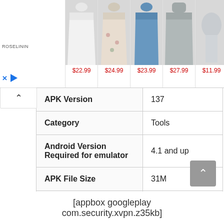[Figure (screenshot): Advertisement banner showing clothing items with prices: $22.99, $24.99, $23.99, $27.99, $11.99. Brand label ROSELININ visible. Close (X) and play button icons shown.]
| APK Version | 137 |
| Category | Tools |
| Android Version Required for emulator | 4.1 and up |
| APK File Size | 31M |
| File Name | X-VPN_-_Free.apk |
[appbox googleplay com.security.xvpn.z35kb]